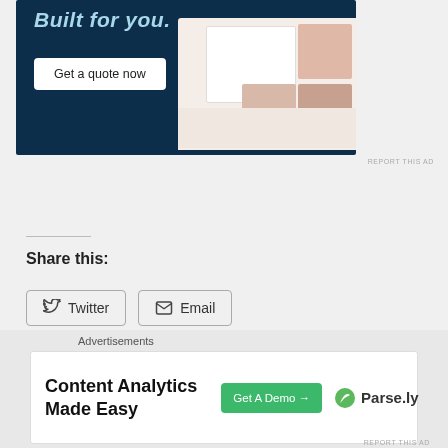[Figure (other): Advertisement banner showing 'Built for you.' text with a 'Get a quote now' button on dark navy background with fashion website mockup]
REPORT THIS AD
Share this:
Twitter
Email
Loading...
Advertisements
[Figure (other): Advertisement for Parse.ly: 'Content Analytics Made Easy' with 'Get A Demo →' button and Parse.ly logo]